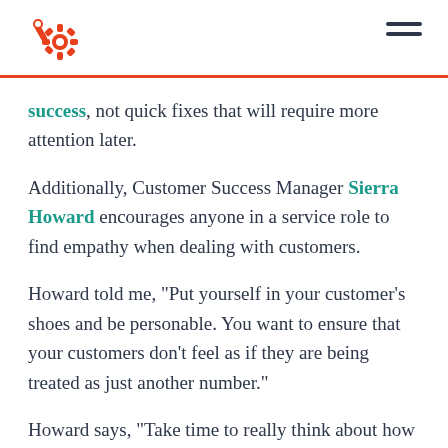HubSpot logo and navigation
success, not quick fixes that will require more attention later.
Additionally, Customer Success Manager Sierra Howard encourages anyone in a service role to find empathy when dealing with customers.
Howard told me, "Put yourself in your customer's shoes and be personable. You want to ensure that your customers don't feel as if they are being treated as just another number."
Howard says, "Take time to really think about how you can help solve their problem, how they could be feeling, and what value you could add from your interaction with them. It's always important to be